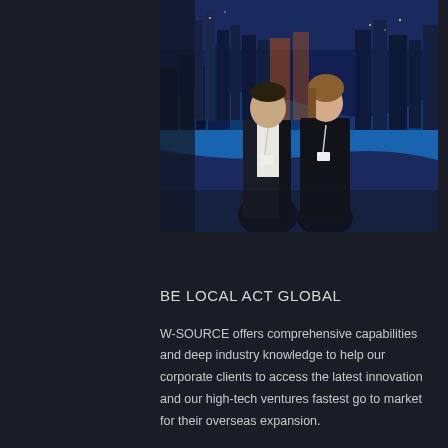[Figure (photo): Two people (a man and a woman) standing in front of a large aerial cityscape backdrop showing a city with skyscrapers near a river at dusk/night. Both are wearing conference lanyards.]
BE LOCAL ACT GLOBAL
W-SOURCE offers comprehensive capabilities and deep industry knowledge to help our corporate clients to access the latest innovation and our high-tech ventures fastest go to market for their overseas expansion.